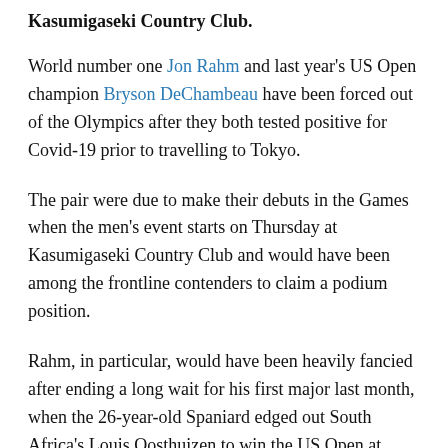Kasumigaseki Country Club.
World number one Jon Rahm and last year's US Open champion Bryson DeChambeau have been forced out of the Olympics after they both tested positive for Covid-19 prior to travelling to Tokyo.
The pair were due to make their debuts in the Games when the men's event starts on Thursday at Kasumigaseki Country Club and would have been among the frontline contenders to claim a podium position.
Rahm, in particular, would have been heavily fancied after ending a long wait for his first major last month, when the 26-year-old Spaniard edged out South Africa's Louis Oosthuizen to win the US Open at Torrey Pines in California.
He then travelled to the United Kingdom for The Open – where he finished in a tie for third – and as a requirement to